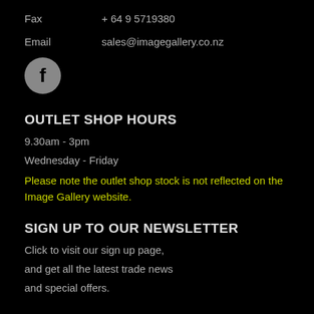Fax   + 64 9 5719380
Email   sales@imagegallery.co.nz
[Figure (logo): Facebook icon — grey circle with white lowercase f]
OUTLET SHOP HOURS
9.30am - 3pm
Wednesday - Friday
Please note the outlet shop stock is not reflected on the Image Gallery website.
SIGN UP TO OUR NEWSLETTER
Click to visit our sign up page,
and get all the latest trade news
and special offers.